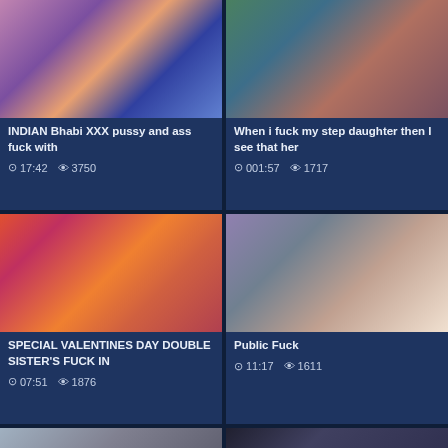[Figure (photo): Thumbnail image of Indian women in traditional clothing]
INDIAN Bhabi XXX pussy and ass fuck with
17:42  3750
[Figure (photo): Thumbnail image of a couple]
When i fuck my step daughter then I see that her
001:57  1717
[Figure (photo): Thumbnail image of women dancing]
SPECIAL VALENTINES DAY DOUBLE SISTER'S FUCK IN
07:51  1876
[Figure (photo): Thumbnail image of a woman]
Public Fuck
11:17  1611
[Figure (photo): Thumbnail strip bottom left]
[Figure (photo): Thumbnail strip bottom right]